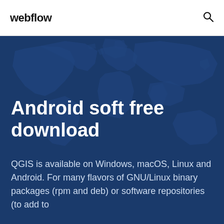webflow
Android soft free download
QGIS is available on Windows, macOS, Linux and Android. For many flavors of GNU/Linux binary packages (rpm and deb) or software repositories (to add to
[Figure (illustration): World map silhouette in dark blue tones used as hero background image]